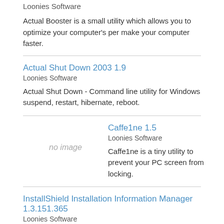Loonies Software
Actual Booster is a small utility which allows you to optimize your computer's performance and make your computer faster.
Actual Shut Down 2003 1.9
Loonies Software
Actual Shut Down - Command line utility for Windows suspend, restart, hibernate, reboot.
Caffe1ne 1.5
Loonies Software
[Figure (other): no image placeholder]
Caffe1ne is a tiny utility to prevent your PC screen from locking.
InstallShield Installation Information Manager 1.3.151.365
Loonies Software
CursorUS 1.9.77
Loonies Software